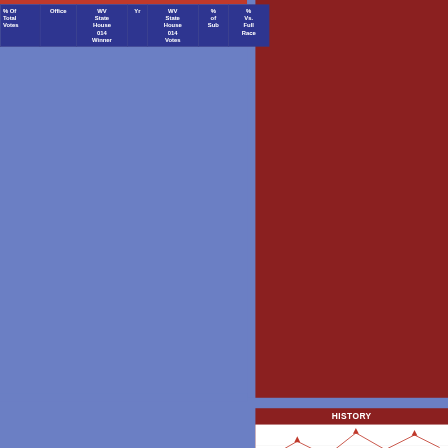| % Of Total Votes | Office | WV State House Yr 014 Winner | Yr | WV State House 014 Votes | % of Sub | % Vs. Full Race |
| --- | --- | --- | --- | --- | --- | --- |
[Figure (other): HISTORY section header with a line chart showing historical election data. Red lines with triangle markers on white background.]